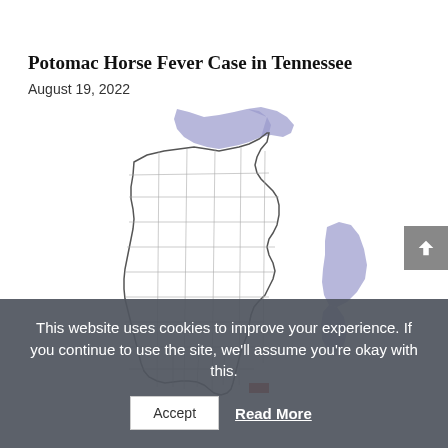Potomac Horse Fever Case in Tennessee
August 19, 2022
[Figure (map): Map of Wisconsin showing county boundaries. Water bodies (Lake Michigan and Lake Superior regions) highlighted in blue/purple. A small red rectangle marker visible at the bottom right area of the state near the Illinois border.]
This website uses cookies to improve your experience. If you continue to use the site, we'll assume you're okay with this.